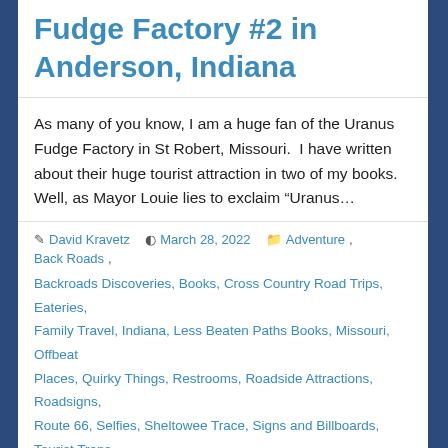Fudge Factory #2 in Anderson, Indiana
As many of you know, I am a huge fan of the Uranus Fudge Factory in St Robert, Missouri.  I have written about their huge tourist attraction in two of my books.  Well, as Mayor Louie lies to exclaim “Uranus…
David Kravetz  March 28, 2022  Adventure, Back Roads, Backroads Discoveries, Books, Cross Country Road Trips, Eateries, Family Travel, Indiana, Less Beaten Paths Books, Missouri, Offbeat Places, Quirky Things, Restrooms, Roadside Attractions, Roadsigns, Route 66, Selfies, Sheltowee Trace, Signs and Billboards, Tourist Traps, Unique Eatery, Unique Places, Unique Shops
BIG NEWS!! – April 1, 2022: Book Signing at Uranus Fudge Factory #2 in Anderson, Indiana